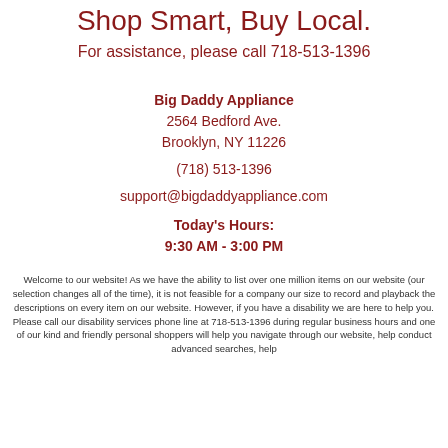Shop Smart, Buy Local.
For assistance, please call 718-513-1396
Big Daddy Appliance
2564 Bedford Ave.
Brooklyn, NY 11226
(718) 513-1396
support@bigdaddyappliance.com
Today's Hours:
9:30 AM - 3:00 PM
Welcome to our website! As we have the ability to list over one million items on our website (our selection changes all of the time), it is not feasible for a company our size to record and playback the descriptions on every item on our website. However, if you have a disability we are here to help you. Please call our disability services phone line at 718-513-1396 during regular business hours and one of our kind and friendly personal shoppers will help you navigate through our website, help conduct advanced searches, help